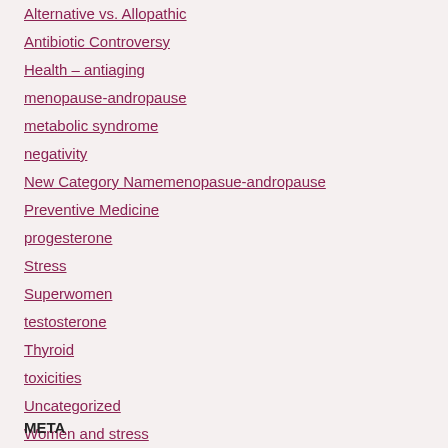Alternative vs. Allopathic
Antibiotic Controversy
Health – antiaging
menopause-andropause
metabolic syndrome
negativity
New Category Namemenopasue-andropause
Preventive Medicine
progesterone
Stress
Superwomen
testosterone
Thyroid
toxicities
Uncategorized
Women and stress
META